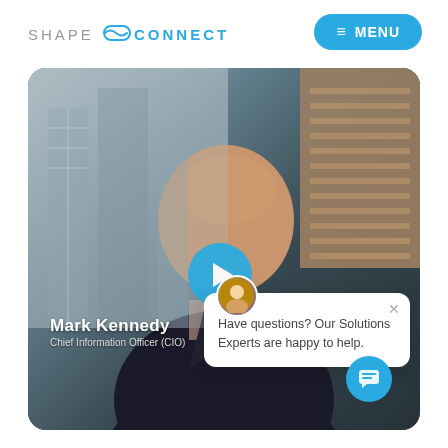[Figure (logo): Shape Connect logo with stylized S icon in cyan/blue and gray text]
≡ MENU
[Figure (screenshot): Video thumbnail of Mark Kennedy, Chief Information Officer (CIO), with a blue play button overlay, building backgrounds, and a chat popup overlay reading 'Have questions? Our Solutions Experts are happy to help.' with a close X button and an avatar icon. A blue chat bubble icon appears in the bottom right.]